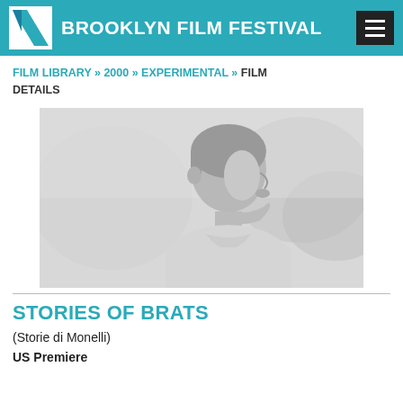BROOKLYN FILM FESTIVAL
FILM LIBRARY » 2000 » EXPERIMENTAL » FILM DETAILS
[Figure (photo): Black and white photograph of a young boy in profile, looking to the right, outdoors with blurred foliage background.]
STORIES OF BRATS
(Storie di Monelli)
US Premiere